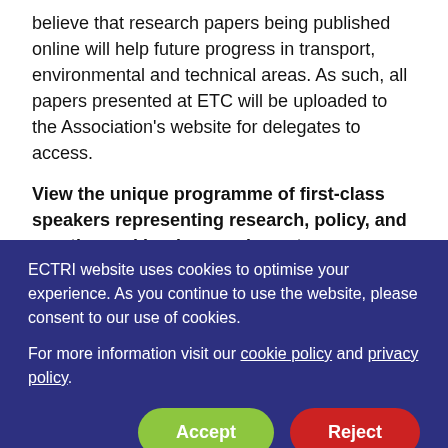believe that research papers being published online will help future progress in transport, environmental and technical areas. As such, all papers presented at ETC will be uploaded to the Association's website for delegates to access.
View the unique programme of first-class speakers representing research, policy, and practice and book your place at www.aetransport.org
ECTRI website uses cookies to optimise your experience. As you continue to use the website, please consent to our use of cookies.

For more information visit our cookie policy and privacy policy.